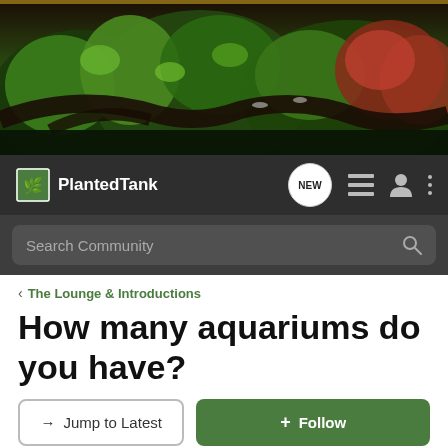[Figure (photo): Hero banner showing a lush planted aquarium with green and red aquatic plants, driftwood, and fish]
Planted Tank — NEW — navigation icons
Search Community
< The Lounge & Introductions
How many aquariums do you have?
→ Jump to Latest
+ Follow
📊 How many aquariums do you have?